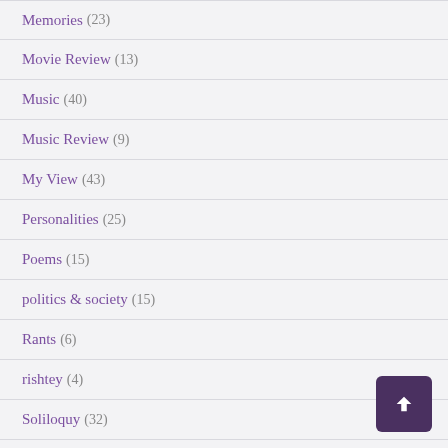Memories (23)
Movie Review (13)
Music (40)
Music Review (9)
My View (43)
Personalities (25)
Poems (15)
politics & society (15)
Rants (6)
rishtey (4)
Soliloquy (32)
Story Time (4)